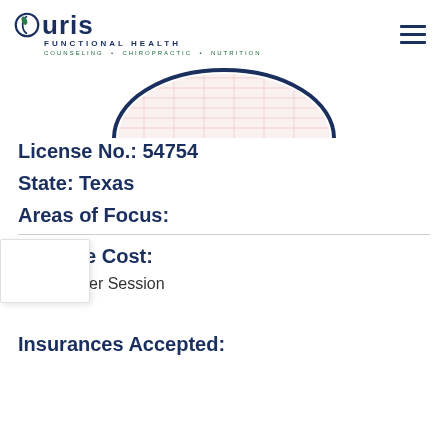Curis Functional Health — COUNSELING • CHIROPRACTIC • NUTRITION
[Figure (illustration): Partial circular decorative element with red grid/crosshatch pattern and dark navy border, visible at top center of page]
License No.: 54754
State: Texas
Areas of Focus:
Average Cost:
$150 Per Session
Insurances Accepted: